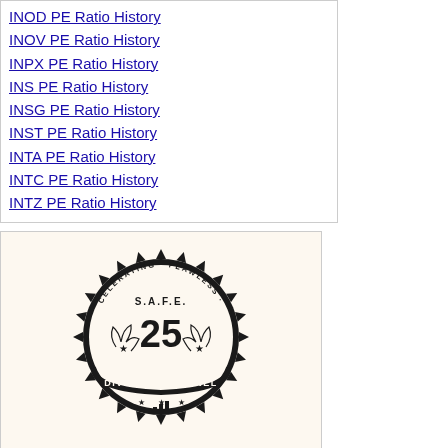INOD PE Ratio History
INOV PE Ratio History
INPX PE Ratio History
INS PE Ratio History
INSG PE Ratio History
INST PE Ratio History
INTA PE Ratio History
INTC PE Ratio History
INTZ PE Ratio History
[Figure (logo): Dividend Channel S.A.F.E. 25 badge — circular seal with spiky border, text reading SOLID ACCELERATING FLAWLESS ENDURING S.A.F.E. 25 DIVIDEND CHANNEL, with laurel wreath and chart icon]
To make the "Dividend Channel S.A.F.E. 25" a stock must display these qualities; S. Solid return — hefty yield and strong DividendRank characteristics; A. Accelerating amount — consistent dividend increases over time; F. Flawless history — never a missed or lowered dividend; E. Enduring — at least two decades